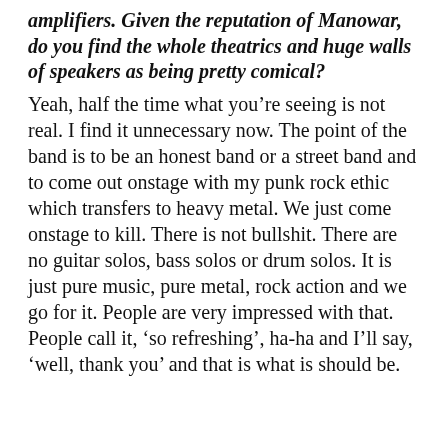amplifiers. Given the reputation of Manowar, do you find the whole theatrics and huge walls of speakers as being pretty comical?
Yeah, half the time what you're seeing is not real. I find it unnecessary now. The point of the band is to be an honest band or a street band and to come out onstage with my punk rock ethic which transfers to heavy metal. We just come onstage to kill. There is not bullshit. There are no guitar solos, bass solos or drum solos. It is just pure music, pure metal, rock action and we go for it. People are very impressed with that. People call it, 'so refreshing', ha-ha and I'll say, 'well, thank you' and that is what is should be.